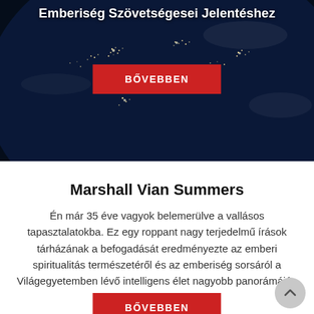[Figure (photo): Night-time satellite image of Earth showing city lights, dark space background, used as hero banner background.]
Emberiség Szövetségesei Jelentéshez
BŐVEBBEN
Marshall Vian Summers
Én már 35 éve vagyok belemerülve a vallásos tapasztalatokba. Ez egy roppant nagy terjedelmű írások tárházának a befogadását eredményezte az emberi spiritualitás természetéről és az emberiség sorsáról a Világegyetemben lévő intelligens élet nagyobb panorámáján belül.
BŐVEBBEN